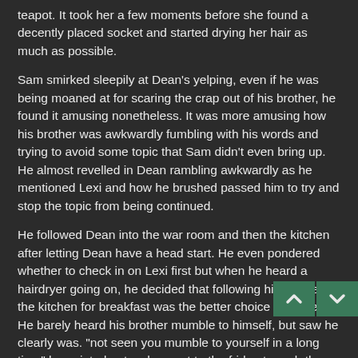teapot. It took her a few moments before she found a decently placed socket and started drying her hair as much as possible.
Sam smirked sleepily at Dean's yelping, even if he was being moaned at for scaring the crap out of his brother, he found it amusing nonetheless. It was more amusing how his brother was awkwardly fumbling with his words and trying to avoid some topic that Sam didn't even bring up. He almost revelled in Dean rambling awkwardly as he mentioned Lexi and how he brushed passed him to try and stop the topic from being continued.
He followed Dean into the war room and then the kitchen after letting Dean have a head start. He even pondered whether to check in on Lexi first but when he heard a hairdryer going on, he decided that following his brother to the kitchen for breakfast was the better choice to make. He barely heard his brother mumble to himself, but saw he clearly was. "not seen you mumble to yourself in a long time" he pointed out as he went to the fridge to grab the orange juice from it.
When Lexi's hair was a good 85% dry and she was satisfied